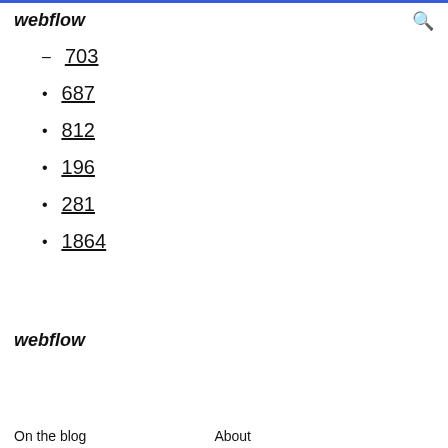webflow
703
687
812
196
281
1864
webflow
On the blog
About